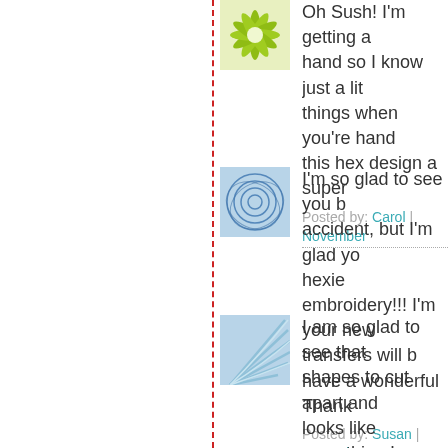[Figure (illustration): Green flower/starburst avatar icon]
Oh Sush! I'm getting a hand so I know just a lit things when you're hand this hex design a super
Posted by: Carol | November
[Figure (illustration): Blue circular geometric pattern avatar icon]
I'm so glad to see you b accident, but I'm glad yo hexie embroidery!!! I'm your new transfers will b have a wonderful Thank
Posted by: Susan | Novemb
[Figure (illustration): Blue fan/wave pattern avatar icon]
I am so glad to see that shapes to cut apart and looks like something I w through the end of the y